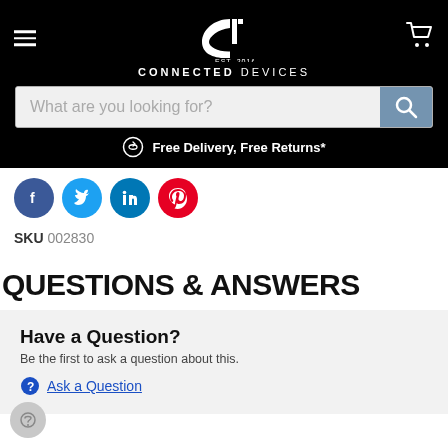CONNECTED DEVICES — EST. 2016
What are you looking for?
Free Delivery, Free Returns*
[Figure (other): Social share icons row: Facebook, Twitter, LinkedIn, Pinterest]
SKU 002830
QUESTIONS & ANSWERS
Have a Question?
Be the first to ask a question about this.
Ask a Question